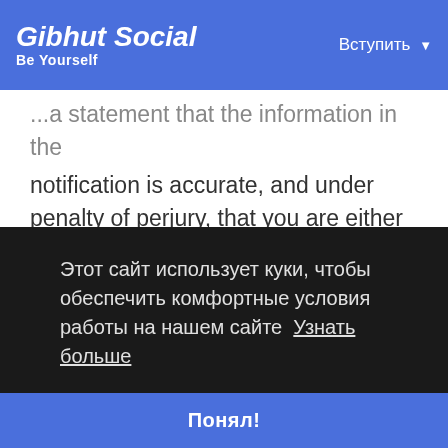Gibhut Social — Be Yourself | Вступить
...a statement that the information in the notification is accurate, and under penalty of perjury, that you are either the owner of the copyright that has allegedly been infringed or that you are authorized to act on behalf of the copyright owner. Please note that, pursuant to 17 U.S.C. § 512(f),
Этот сайт использует куки, чтобы обеспечить комфортные условия работы на нашем сайте  Узнать больше
Понял!
connection with the written notification and